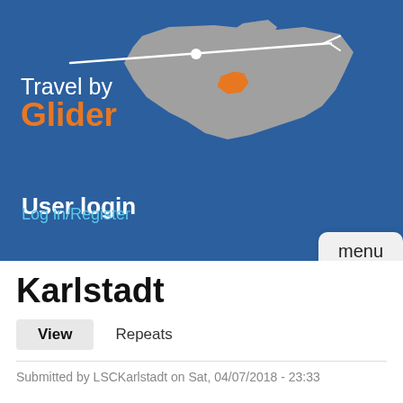[Figure (logo): Travel by Glider logo with glider silhouette over a map of Europe with Switzerland highlighted in orange]
User login
Log in/Register
menu
Karlstadt
View   Repeats
Submitted by LSCKarlstadt on Sat, 04/07/2018 - 23:33